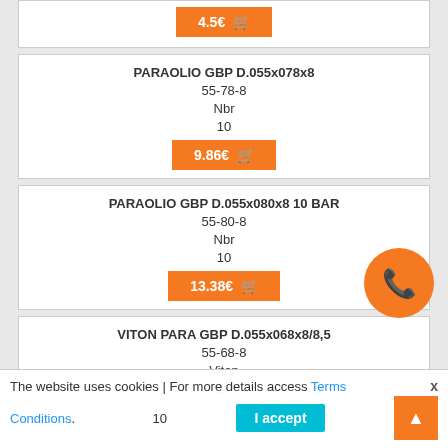4.5€ [cart]
PARAOLIO GBP D.055x078x8
55-78-8
Nbr
10
9.86€
PARAOLIO GBP D.055x080x8 10 BAR
55-80-8
Nbr
10
13.38€
VITON PARA GBP D.055x068x8/8,5
55-68-8
Viton
10
The website uses cookies | For more details access Terms Conditions. I accept